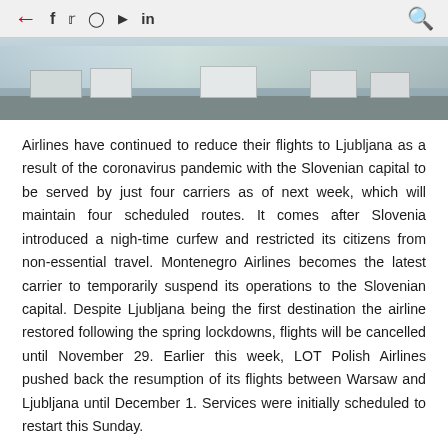← f 𝕏 ⊙ ▶ in 🔍
[Figure (photo): Exterior photo of Ljubljana Airport showing vehicles parked outside terminal building with white vans and cars visible]
Airlines have continued to reduce their flights to Ljubljana as a result of the coronavirus pandemic with the Slovenian capital to be served by just four carriers as of next week, which will maintain four scheduled routes. It comes after Slovenia introduced a nigh-time curfew and restricted its citizens from non-essential travel. Montenegro Airlines becomes the latest carrier to temporarily suspend its operations to the Slovenian capital. Despite Ljubljana being the first destination the airline restored following the spring lockdowns, flights will be cancelled until November 29. Earlier this week, LOT Polish Airlines pushed back the resumption of its flights between Warsaw and Ljubljana until December 1. Services were initially scheduled to restart this Sunday.
For most of November, Ljubljana Airport will be served by Air